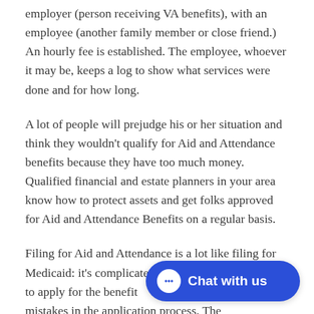employer (person receiving VA benefits), with an employee (another family member or close friend.) An hourly fee is established. The employee, whoever it may be, keeps a log to show what services were done and for how long.
A lot of people will prejudge his or her situation and think they wouldn't qualify for Aid and Attendance benefits because they have too much money. Qualified financial and estate planners in your area know how to protect assets and get folks approved for Aid and Attendance Benefits on a regular basis.
Filing for Aid and Attendance is a lot like filing for Medicaid: it's complicated. People get tired of trying to apply for the benefits themselves and make mistakes in the application process. The